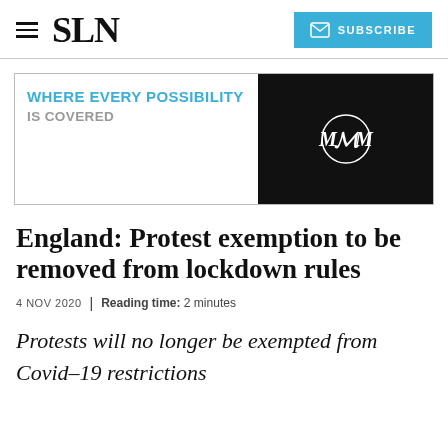SLN  SUBSCRIBE
[Figure (other): Advertisement banner with text 'WHERE EVERY POSSIBILITY IS COVERED' in teal on white left side, and dark right panel with Motorola double-M logo]
England: Protest exemption to be removed from lockdown rules
4 NOV 2020  |  Reading time: 2 minutes
Protests will no longer be exempted from Covid–19 restrictions